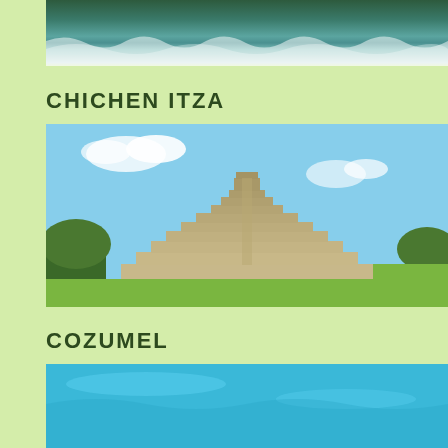[Figure (photo): Aerial view of coastline with ocean waves and green land]
CHICHEN ITZA
[Figure (photo): Chichen Itza stepped pyramid (El Castillo) under blue sky with green lawn]
COZUMEL
[Figure (photo): Cozumel aerial or water view with turquoise ocean]